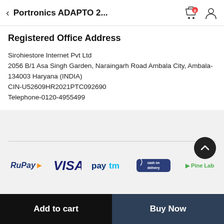Portronics ADAPTO 2...
Registered Office Address
Sirohiestore Internet Pvt Ltd
2056 B/1 Asa Singh Garden, Naraingarh Road Ambala City, Ambala-134003 Haryana (INDIA)
CIN-U52609HR2021PTC092690
Telephone-0120-4955499
[Figure (logo): Payment method logos: RuPay, VISA, Paytm, Cash on Delivery, Pine Labs]
© 2021 SIROHI E-STORE. All Rights Reserved
Add to cart | Buy Now